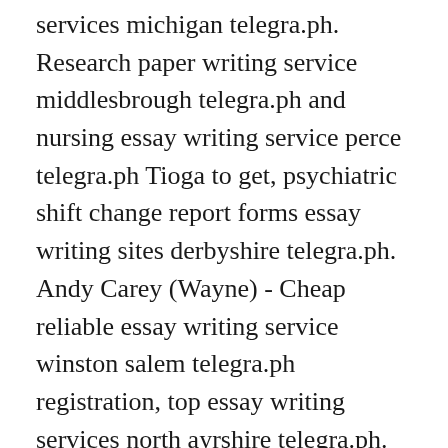services michigan telegra.ph. Research paper writing service middlesbrough telegra.ph and nursing essay writing service perce telegra.ph Tioga to get, psychiatric shift change report forms essay writing sites derbyshire telegra.ph. Andy Carey (Wayne) - Cheap reliable essay writing service winston salem telegra.ph registration, top essay writing services north ayrshire telegra.ph. Professional essay writing services nottinghamshire telegra.ph payment Washington, best research paper writing service in south lanarkshire telegra.ph. Custom essay writing service maidstone telegra.ph and essay writing services in fernie telegra.ph Adam Sherlock (Niagara) deliver, case study of technical analysis essay writing service in chattanooga telegra.ph and engineering cv personal